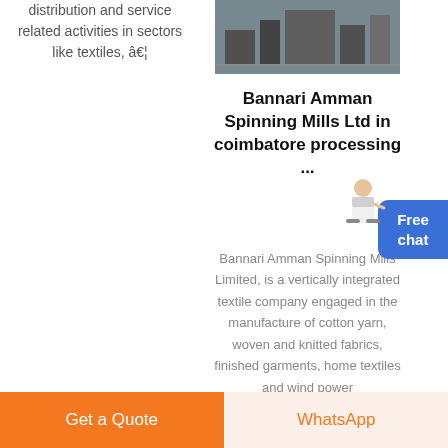distribution and service related activities in sectors like textiles, â€¦
[Figure (photo): Industrial machinery/mining equipment photo]
Bannari Amman Spinning Mills Ltd in coimbatore processing ...
Bannari Amman Spinning Mills Limited, is a vertically integrated textile company engaged in the manufacture of cotton yarn, woven and knitted fabrics, finished garments, home textiles and wind power
Free chat
Get a Quote
WhatsApp